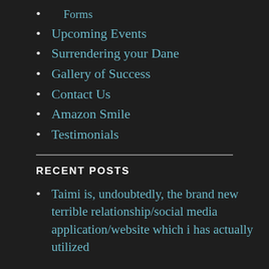Forms
Upcoming Events
Surrendering your Dane
Gallery of Success
Contact Us
Amazon Smile
Testimonials
RECENT POSTS
Taimi is, undoubtedly, the brand new terrible relationship/social media application/website which i has actually utilized